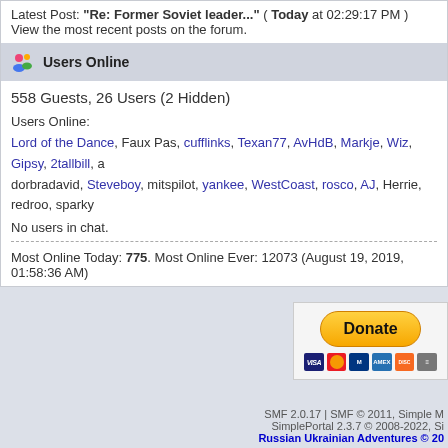Latest Post: "Re: Former Soviet leader..." ( Today at 02:29:17 PM )
View the most recent posts on the forum.
Users Online
558 Guests, 26 Users (2 Hidden)
Users Online:
Lord of the Dance, Faux Pas, cufflinks, Texan77, AvHdB, Markje, Wiz, Gipsy, 2tallbill, a dorbradavid, Steveboy, mitspilot, yankee, WestCoast, rosco, AJ, Herrie, redroo, sparky
No users in chat.
Most Online Today: 775. Most Online Ever: 12073 (August 19, 2019, 01:58:36 AM)
[Figure (other): PayPal Donate button with credit card icons (VISA, Mastercard, Maestro, Amex, Discover)]
SMF 2.0.17 | SMF © 2011, Simple M
SimplePortal 2.3.7 © 2008-2022, Si
Russian Ukrainian Adventures © 20